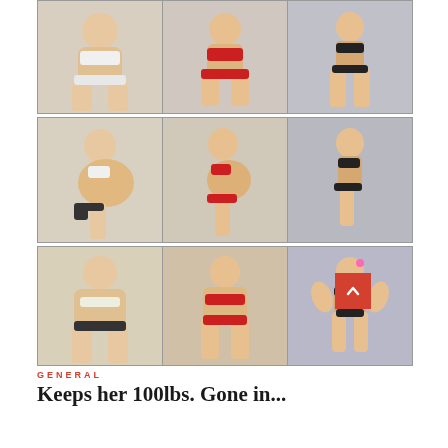[Figure (photo): Nine-panel before/during/after weight loss photo grid showing a woman from front, side, and back views. Left column: before (overweight), middle column: mid-progress, right column: after (fit). Top row: front views. Middle row: side profile views. Bottom row: rear views. A red scroll-to-top button with a caret symbol overlays the bottom-right of the last photo.]
GENERAL
Keeps her 100lbs. Gone in...